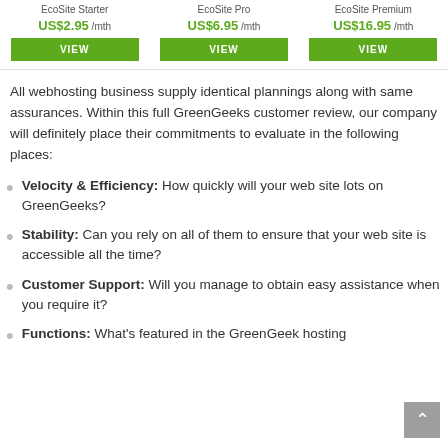EcoSite Starter — US$2.95/mth | EcoSite Pro — US$6.95/mth | EcoSite Premium — US$16.95/mth
All webhosting business supply identical plannings along with same assurances. Within this full GreenGeeks customer review, our company will definitely place their commitments to evaluate in the following places:
Velocity & Efficiency: How quickly will your web site lots on GreenGeeks?
Stability: Can you rely on all of them to ensure that your web site is accessible all the time?
Customer Support: Will you manage to obtain easy assistance when you require it?
Functions: What's featured in the GreenGeek hosting